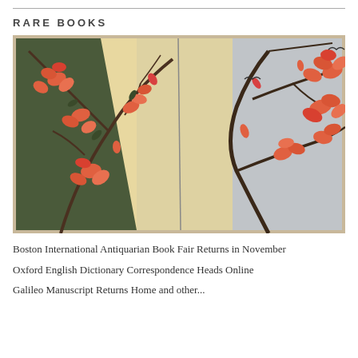RARE BOOKS
[Figure (illustration): Open book spread showing Japanese botanical illustration of azalea or cherry blossom branches with orange-red flowers. Left page has dark green background with flowers; right pages show cream/yellow diagonal section and grey background with branching flowers.]
Boston International Antiquarian Book Fair Returns in November
Oxford English Dictionary Correspondence Heads Online
Galileo Manuscript Returns Home and other...